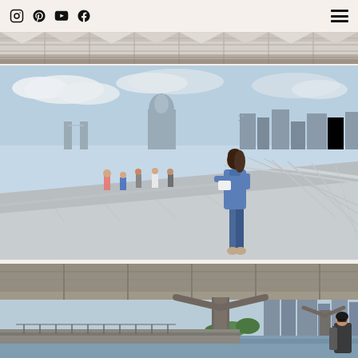Social media navigation bar with Instagram, Pinterest, YouTube, Facebook icons and hamburger menu
[Figure (photo): Top strip photo showing a covered stadium or arena roof structure with white angular canopy panels]
[Figure (photo): Main photo of a woman in a denim jacket and jeans standing on the Millennium Bridge in London, leaning on the railing, looking down. St. Paul's Cathedral dome and London skyline visible in background. Other pedestrians walking on the bridge.]
[Figure (photo): Bottom photo showing the underside structure of Millennium Bridge with its distinctive Y-shaped support piers, taken from below/riverside, with London buildings and trees in background and woman in foreground.]